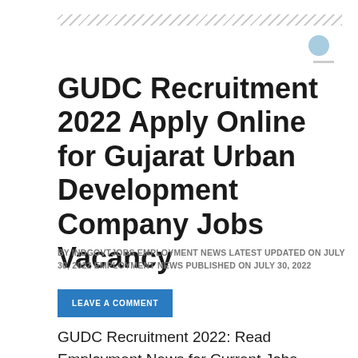GUDC Recruitment 2022 Apply Online for Gujarat Urban Development Company Jobs Vacancy
BY INDGOVTJOBS EMPLOYMENT NEWS LATEST UPDATED ON JULY 30, 2022 EMPLOYMENT NEWS PUBLISHED ON JULY 30, 2022
LEAVE A COMMENT
GUDC Recruitment 2022: Read Employment News for Current Jobs Vacancy in Gujarat Urban Development Company, Gujarat. Get Latest Jobs Notification for GUDC Career Vacancies 2022. Find